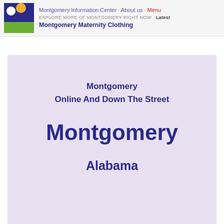Montgomery Information Center · About us · Menu
EXPLORE MORE OF MONTGOMERY RIGHT NOW · Latest
Montgomery Maternity Clothing
Montgomery
Online And Down The Street
Montgomery
Alabama